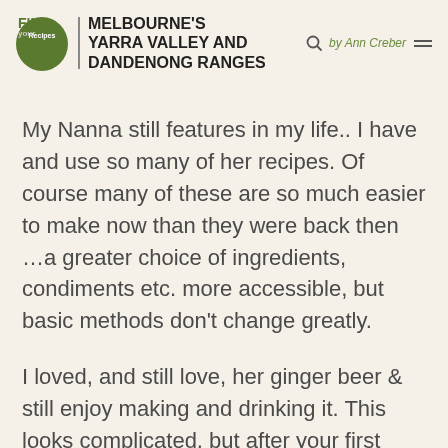FIND YOUR SELF | MELBOURNE'S YARRA VALLEY AND DANDENONG RANGES by Ann Creber
My Nanna still features in my life.. I have and use so many of her recipes. Of course many of these are so much easier to make now than they were back then …a greater choice of ingredients, condiments etc. more accessible, but basic methods don't change greatly.
I loved, and still love, her ginger beer & still enjoy making and drinking it. This looks complicated, but after your first batch you will wonder... (continues)